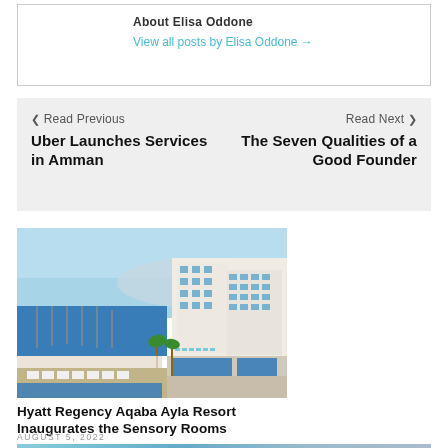About Elisa Oddone
View all posts by Elisa Oddone →
❮ Read Previous
Uber Launches Services in Amman
Read Next ❯
The Seven Qualities of a Good Founder
[Figure (photo): Aerial view of the Hyatt Regency Aqaba Ayla Resort showing the hotel building, swimming pools, marina, and waterfront]
Hyatt Regency Aqaba Ayla Resort Inaugurates the Sensory Rooms
AUGUST 5, 2022
[Figure (photo): Partial view of another article image at the bottom of the page]